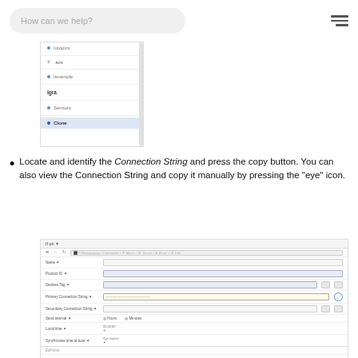How can we help?
[Figure (screenshot): Navigation sidebar showing menu items including icons and labels such as 'Iotopics', 'acs', 'Iexample', with a group header 'Igra' and items 'Sensors' and 'Clone' (highlighted/active)]
Locate and identify the Connection String and press the copy button. You can also view the Connection String and copy it manually by pressing the "eye" icon.
[Figure (screenshot): Settings/configuration form panel showing various input fields with labels, a connection string field highlighted with a copy/eye icon button, tabs for 'Device Attributes' and 'Configuration', and a subtoolbar row with items.]
The Connection String are now in the clipboard and